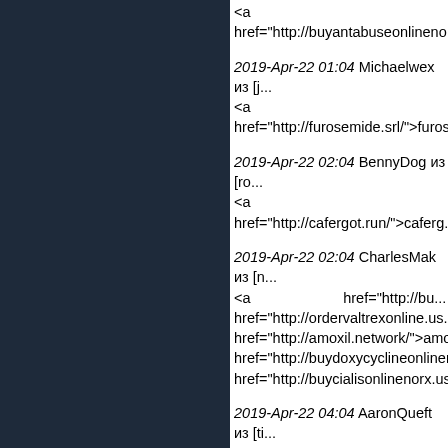<a href="http://buyantabuseonlinenо...
2019-Apr-22 01:04 Michaelwex из [j... <a href="http://furosemide.srl/">furos...
2019-Apr-22 02:04 BennyDog из [ro... <a href="http://cafergot.run/">caferg...
2019-Apr-22 02:04 CharlesMak из [n... <a href="http://bu... href="http://ordervaltrexonline.us.co... href="http://amoxil.network/">amoxil... href="http://buydoxycyclineonlinenо... href="http://buycialisonlinenorx.us.co...
2019-Apr-22 04:04 AaronQueft из [ti... http://buyfurosemide.network/buy/fur... name
2019-Apr-22 07:04 AaronQueft из [lo... <a href="h... medication.html">cafergot medicatio... diflucan.html">diflucan over counter<...
2019-Apr-22 09:04 CharlesMak из [b...